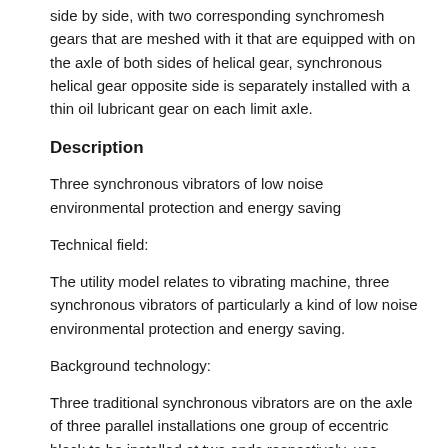side by side, with two corresponding synchromesh gears that are meshed with it that are equipped with on the axle of both sides of helical gear, synchronous helical gear opposite side is separately installed with a thin oil lubricant gear on each limit axle.
Description
Three synchronous vibrators of low noise environmental protection and energy saving
Technical field:
The utility model relates to vibrating machine, three synchronous vibrators of particularly a kind of low noise environmental protection and energy saving.
Background technology:
Three traditional synchronous vibrators are on the axle of three parallel installations one group of eccentric block to be installed at two ends respectively, use synchronized to link to each other with motor with shaft coupling at an end of three axles, the shortcoming that this structure exists is that parts are many, structure is not compact, and noise is